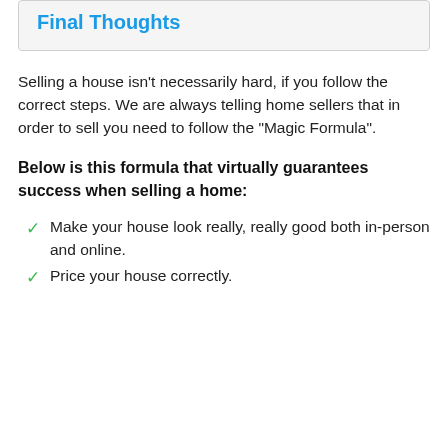Final Thoughts
Selling a house isn’t necessarily hard, if you follow the correct steps. We are always telling home sellers that in order to sell you need to follow the “Magic Formula”.
Below is this formula that virtually guarantees success when selling a home:
Make your house look really, really good both in-person and online.
Price your house correctly.